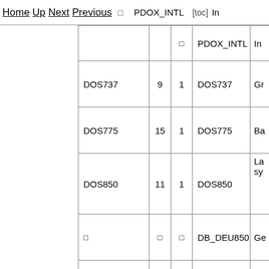Home Up Next Previous  □  PDOX_INTL  [toc]  In  En
|  |  | □ | PDOX_INTL | In |
| --- | --- | --- | --- | --- |
| DOS737 | 9 | 1 | DOS737 | Gr |
| DOS775 | 15 | 1 | DOS775 | Ba |
| DOS850 | 11 | 1 | DOS850 | La sy |
| □ | □ | □ | DB_DEU850 | Ge |
| □ | □ | □ | DB_ESP850 | Sp |